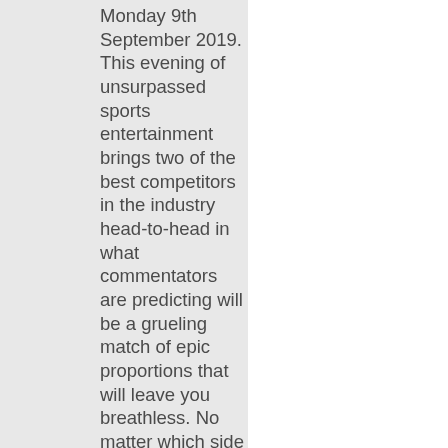Monday 9th September 2019. This evening of unsurpassed sports entertainment brings two of the best competitors in the industry head-to-head in what commentators are predicting will be a grueling match of epic proportions that will leave you breathless. No matter which side you'll be cheering for, you can guarantee that you won't be able to stay in your seat. Everyone in that high-capacity crowd will be on